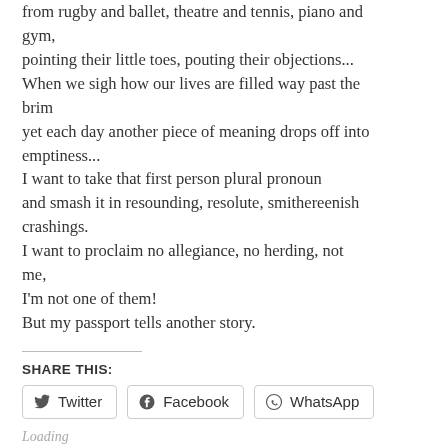from rugby and ballet, theatre and tennis, piano and gym,
pointing their little toes, pouting their objections...
When we sigh how our lives are filled way past the brim
yet each day another piece of meaning drops off into emptiness...
I want to take that first person plural pronoun
and smash it in resounding, resolute, smithereenish crashings.
I want to proclaim no allegiance, no herding, not me,
I'm not one of them!
But my passport tells another story.
SHARE THIS:
Twitter | Facebook | WhatsApp
Loading